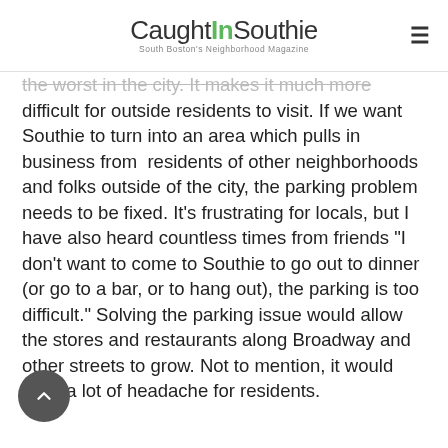CaughtInSouthie — South Boston's Neighborhood Magazine
the worst in the city. It makes it much more difficult for outside residents to visit. If we want Southie to turn into an area which pulls in business from  residents of other neighborhoods and folks outside of the city, the parking problem needs to be fixed. It's frustrating for locals, but I have also heard countless times from friends "I don't want to come to Southie to go out to dinner (or go to a bar, or to hang out), the parking is too difficult." Solving the parking issue would allow the stores and restaurants along Broadway and other streets to grow. Not to mention, it would save a lot of headache for residents.